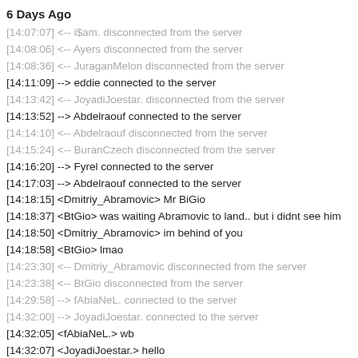6 Days Ago
[14:07:07] <-- i$am. disconnected from the server
[14:08:06] <-- Ayers disconnected from the server
[14:08:36] <-- JuraganMelon disconnected from the server
[14:11:09] --> eddie connected to the server
[14:13:42] <-- JoyadiJoestar. disconnected from the server
[14:13:52] --> Abdelraouf connected to the server
[14:14:10] <-- Abdelraouf disconnected from the server
[14:15:24] <-- BuranCzech disconnected from the server
[14:16:20] --> Fyrel connected to the server
[14:17:03] --> Abdelraouf connected to the server
[14:18:15] <Dmitriy_Abramovic> Mr BiGio
[14:18:37] <BtGio> was waiting Abramovic to land.. but i didnt see him
[14:18:50] <Dmitriy_Abramovic> im behind of you
[14:18:58] <BtGio> lmao
[14:23:30] <-- Dmitriy_Abramovic disconnected from the server
[14:23:38] <-- BtGio disconnected from the server
[14:29:58] --> fAbiaNeL. connected to the server
[14:32:00] --> JoyadiJoestar. connected to the server
[14:32:05] <fAbiaNeL.> wb
[14:32:07] <JoyadiJoestar.> hello
[14:32:13] <Winlogon.bat> hello englisher
[14:32:18] <fAbiaNeL.> joyadi from england
[14:32:25] <JoyadiJoestar.> tea